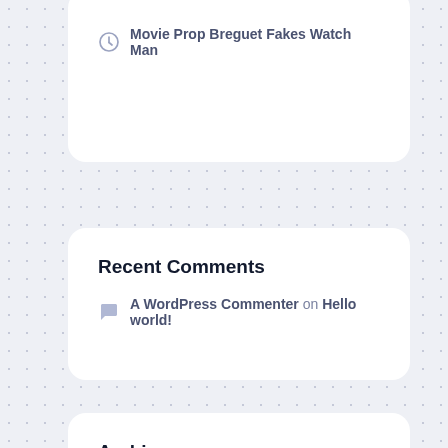Movie Prop Breguet Fakes Watch Man
Recent Comments
A WordPress Commenter on Hello world!
Archives
July 2022
June 2022
May 2022